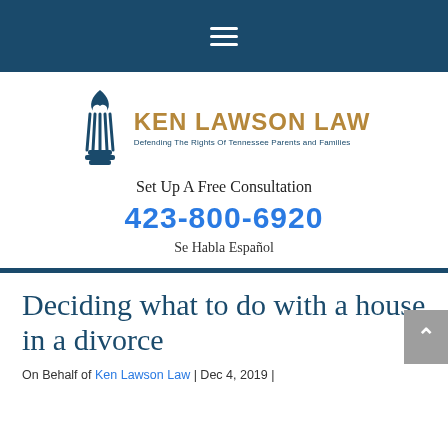Navigation bar with hamburger menu
[Figure (logo): Ken Lawson Law logo with torch icon and tagline: Defending The Rights Of Tennessee Parents and Families]
Set Up A Free Consultation
423-800-6920
Se Habla Español
Deciding what to do with a house in a divorce
On Behalf of Ken Lawson Law | Dec 4, 2019 |